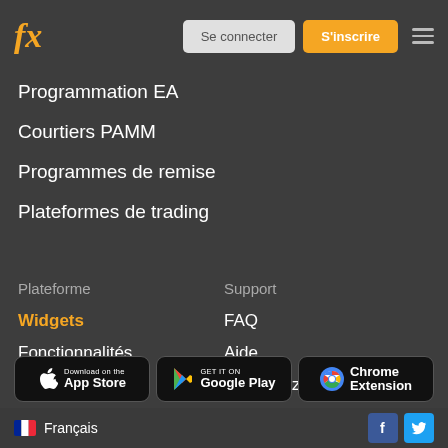fx | Se connecter | S'inscrire
Programmation EA
Courtiers PAMM
Programmes de remise
Plateformes de trading
Plateforme
Widgets
Fonctionnalités
API
RSS
Support
FAQ
Aide
Contactez-nous
Signaler un bug!
À propos de
Blog
[Figure (screenshot): App store download badges: Download on the App Store, GET IT ON Google Play, Chrome Extension]
Français | Facebook | Twitter